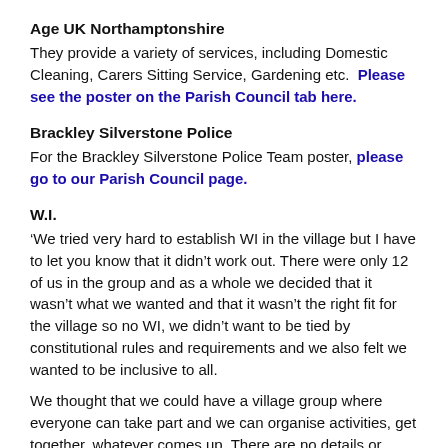Age UK Northamptonshire
They provide a variety of services, including Domestic Cleaning, Carers Sitting Service, Gardening etc.  Please see the poster on the Parish Council tab here.
Brackley Silverstone Police
For the Brackley Silverstone Police Team poster, please go to our Parish Council page.
W.I.
'We tried very hard to establish WI in the village but I have to let you know that it didn't work out. There were only 12 of us in the group and as a whole we decided that it wasn't what we wanted and that it wasn't the right fit for the village so no WI, we didn't want to be tied by constitutional rules and requirements and we also felt we wanted to be inclusive to all.
We thought that we could have a village group where everyone can take part and we can organise activities, get together, whatever comes up. There are no details or information at the moment but if you have any ideas and would like to be part of setting up the new group please get in touch.'
Fiona